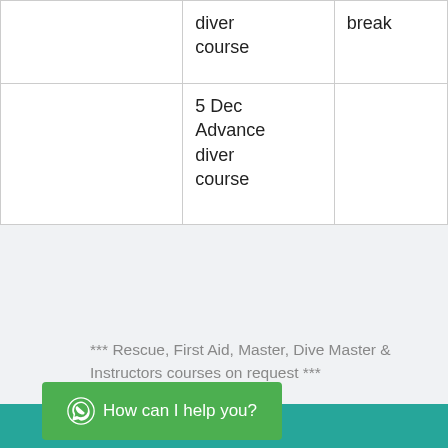|  |  | break |
| --- | --- | --- |
|  | diver
course | break |
|  | 5 Dec
Advance diver course |  |
*** Rescue, First Aid, Master, Dive Master & Instructors courses on request ***
Contact us?
How can I help you?